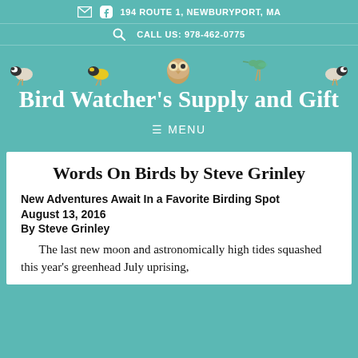194 ROUTE 1, NEWBURYPORT, MA
CALL US: 978-462-0775
Bird Watcher's Supply and Gift
≡ MENU
Words On Birds by Steve Grinley
New Adventures Await In a Favorite Birding Spot
August 13, 2016
By Steve Grinley
The last new moon and astronomically high tides squashed this year's greenhead July uprising,